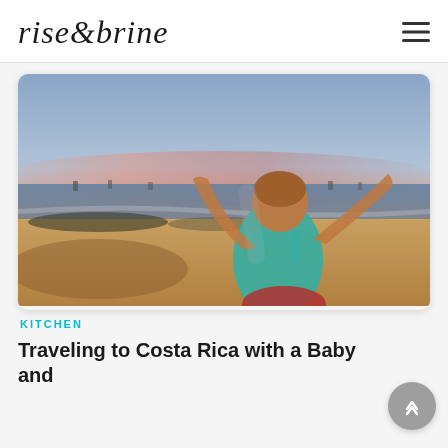rise&brine
[Figure (photo): A young child with arms raised up on a sandy beach at sunset, wearing a teal tank top, with ocean and boats visible in the background under a pink and blue sky.]
KITCHEN
Traveling to Costa Rica with a Baby and